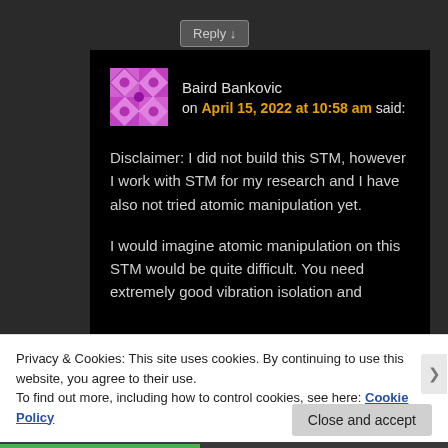Reply ↓
Baird Bankovic on April 15, 2022 at 10:58 am said:
Disclaimer: I did not build this STM, however I work with STM for my research and I have also not tried atomic manipulation yet.

I would imagine atomic manipulation on this STM would be quite difficult. You need extremely good vibration isolation and
Privacy & Cookies: This site uses cookies. By continuing to use this website, you agree to their use.
To find out more, including how to control cookies, see here: Cookie Policy
Close and accept